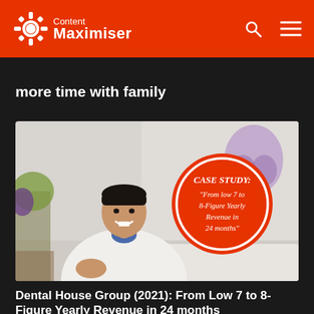Content Maximiser
more time with family
[Figure (photo): A smiling male dentist in a white coat seated at a front desk, with a purple tooth logo visible in the background. A red circular badge overlay reads: CASE STUDY: "From low 7 to 8-Figure Yearly Revenue in 24 months"]
Dental House Group (2021): From Low 7 to 8-Figure Yearly Revenue in 24 months